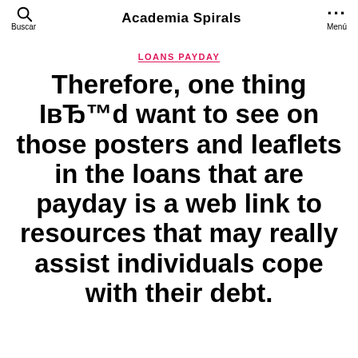Buscar | Academia Spirals | Menú
LOANS PAYDAY
Therefore, one thing IвЂ™d want to see on those posters and leaflets in the loans that are payday is a web link to resources that may really assist individuals cope with their debt.